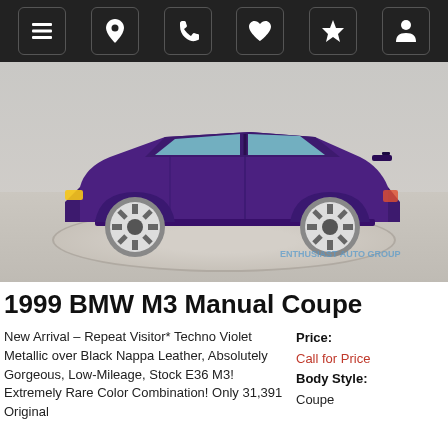[Figure (screenshot): Navigation bar with dark background showing hamburger menu, location pin, phone, heart, star, and person icons in rounded square buttons]
[Figure (photo): Side profile of a 1999 BMW M3 E36 in Techno Violet Metallic paint, sitting on a circular display platform in a showroom. The car has white BBS-style wheels and a rear spoiler.]
1999 BMW M3 Manual Coupe
New Arrival – Repeat Visitor* Techno Violet Metallic over Black Nappa Leather, Absolutely Gorgeous, Low-Mileage, Stock E36 M3! Extremely Rare Color Combination! Only 31,391 Original
| Price: | Call for Price |
| Body Style: | Coupe |